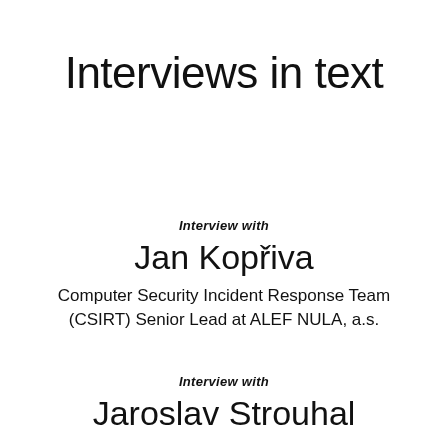Interviews in text
Interview with
Jan Kopřiva
Computer Security Incident Response Team (CSIRT) Senior Lead at ALEF NULA, a.s.
Interview with
Jaroslav Strouhal